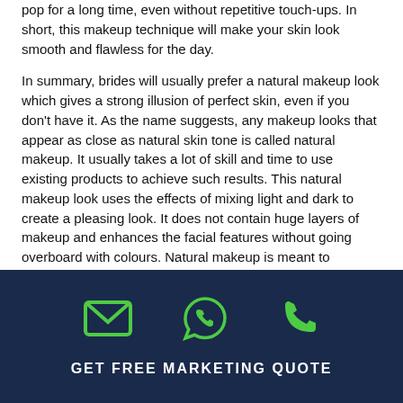pop for a long time, even without repetitive touch-ups. In short, this makeup technique will make your skin look smooth and flawless for the day.
In summary, brides will usually prefer a natural makeup look which gives a strong illusion of perfect skin, even if you don't have it. As the name suggests, any makeup looks that appear as close as natural skin tone is called natural makeup. It usually takes a lot of skill and time to use existing products to achieve such results. This natural makeup look uses the effects of mixing light and dark to create a pleasing look. It does not contain huge layers of makeup and enhances the facial features without going overboard with colours. Natural makeup is meant to enhance the person's facial features without being too much. This is suitable
[Figure (infographic): Dark navy blue footer bar with three green icons (email/envelope, WhatsApp/speech bubble with phone, telephone handset) and bold white text 'GET FREE MARKETING QUOTE']